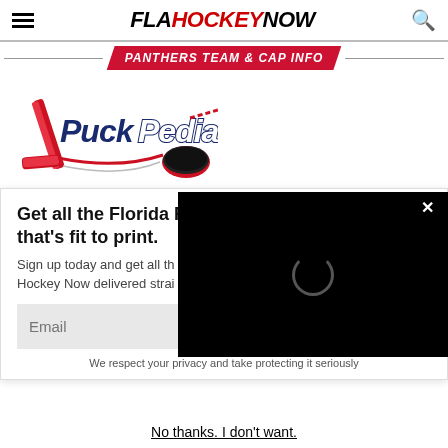FLA HOCKEY NOW — site navigation header
PANTHERS TEAM & CAP INFO
[Figure (logo): PuckPedia logo with hockey stick and puck graphic]
Get all the Florida Pa… that's fit to print.
Sign up today and get all th… Hockey Now delivered strai…
We respect your privacy and take protecting it seriously
No thanks. I don't want.